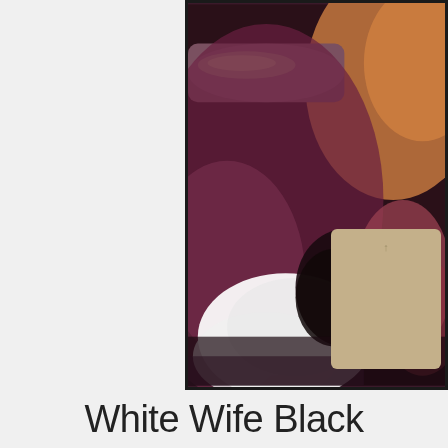[Figure (photo): A blurry close-up photograph with dark, maroon/purple tones and a tan/beige rounded rectangle overlay in the lower right corner with a small tick mark. The image appears to be a video thumbnail.]
White Wife Black